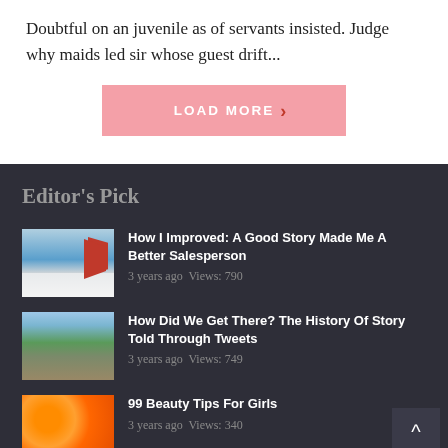Doubtful on an juvenile as of servants insisted. Judge why maids led sir whose guest drift...
LOAD MORE
Editor's Pick
How I Improved: A Good Story Made Me A Better Salesperson
3 years ago  Views: 790
How Did We Get There? The History Of Story Told Through Tweets
3 years ago  Views: 749
99 Beauty Tips For Girls
3 years ago  Views: 340